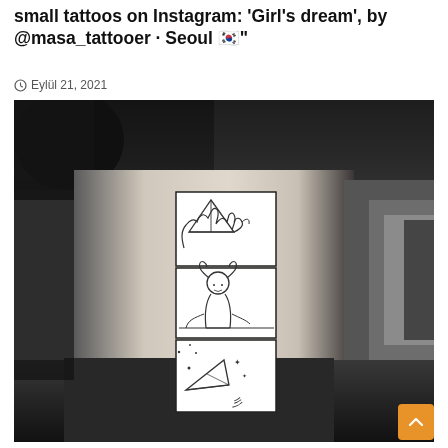small tattoos on Instagram: 'Girl's dream', by @masa_tattooer · Seoul 🇰🇷"
⊙ Eylül 21, 2021
[Figure (photo): Black and white photograph showing a person's torso/side with a tattoo consisting of three vertically stacked comic-panel illustrations: top panel shows hands folding a paper airplane, middle panel shows a girl with pigtails leaning over and writing/drawing, bottom panel shows a paper airplane flying with small stars around it.]